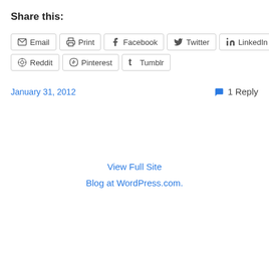Share this:
Email
Print
Facebook
Twitter
LinkedIn
Reddit
Pinterest
Tumblr
January 31, 2012
1 Reply
View Full Site
Blog at WordPress.com.